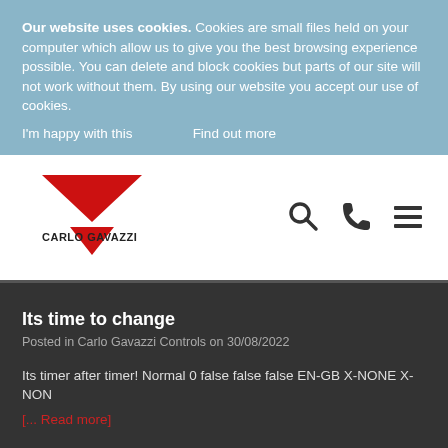Our website uses cookies. Cookies are small files held on your computer which allow us to give you the best browsing experience possible. You can delete and block cookies but parts of our site will not work without them. By using our website you accept our use of cookies.
I'm happy with this    Find out more
[Figure (logo): Carlo Gavazzi logo with red downward-pointing triangles and company name]
[Figure (illustration): Navigation icons: search (magnifying glass), phone, and hamburger menu]
Its time to change
Posted in Carlo Gavazzi Controls on 30/08/2022
Its timer after timer! Normal 0 false false false EN-GB X-NONE X-NON
[... Read more]
Read all blogs >